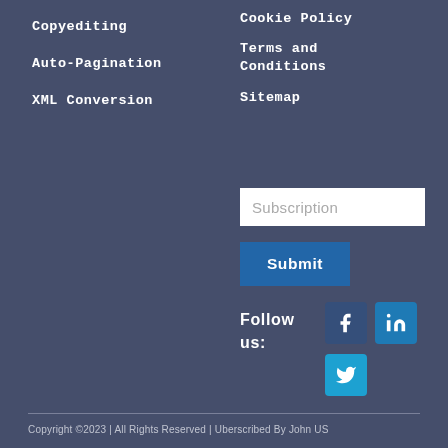Copyediting
Auto-Pagination
XML Conversion
Cookie Policy
Terms and Conditions
Sitemap
Subscription
Submit
Follow us:
[Figure (illustration): Facebook, LinkedIn, and Twitter social media icons]
Copyright © 2023 | All Rights Reserved | Uberscribed By John US